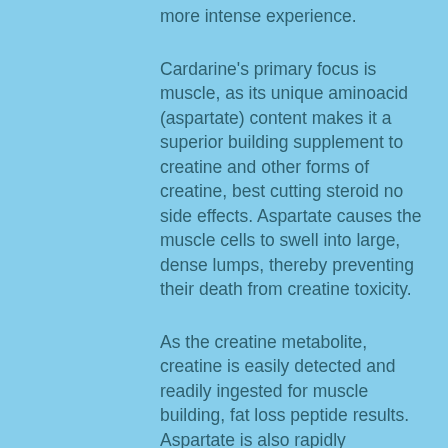more intense experience.
Cardarine's primary focus is muscle, as its unique aminoacid (aspartate) content makes it a superior building supplement to creatine and other forms of creatine, best cutting steroid no side effects. Aspartate causes the muscle cells to swell into large, dense lumps, thereby preventing their death from creatine toxicity.
As the creatine metabolite, creatine is easily detected and readily ingested for muscle building, fat loss peptide results. Aspartate is also rapidly absorbed into the bloodstream during training.
To build muscle, Cardarine must be taken before the workouts, as it can lead to the release of creatine into the bloodstream through the kidneys due to excess water,